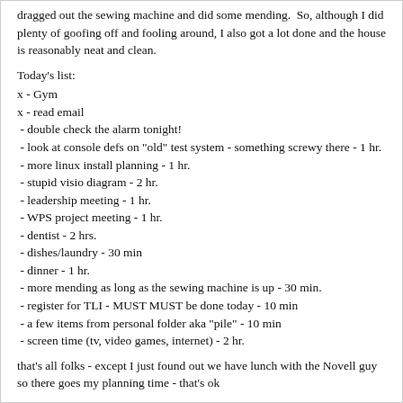dragged out the sewing machine and did some mending.  So, although I did plenty of goofing off and fooling around, I also got a lot done and the house is reasonably neat and clean.
Today's list:
x - Gym
x - read email
- double check the alarm tonight!
- look at console defs on "old" test system - something screwy there - 1 hr.
- more linux install planning - 1 hr.
- stupid visio diagram - 2 hr.
- leadership meeting - 1 hr.
- WPS project meeting - 1 hr.
- dentist - 2 hrs.
- dishes/laundry - 30 min
- dinner - 1 hr.
- more mending as long as the sewing machine is up - 30 min.
- register for TLI - MUST MUST be done today - 10 min
- a few items from personal folder aka "pile" - 10 min
- screen time (tv, video games, internet) - 2 hr.
that's all folks - except I just found out we have lunch with the Novell guy so there goes my planning time - that's ok
Journey
Darkness cannot drive out darkness; only light can do that. Hate